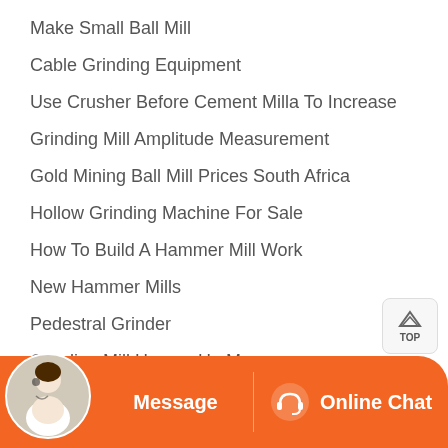Make Small Ball Mill
Cable Grinding Equipment
Use Crusher Before Cement Milla To Increase
Grinding Mill Amplitude Measurement
Gold Mining Ball Mill Prices South Africa
Hollow Grinding Machine For Sale
How To Build A Hammer Mill Work
New Hammer Mills
Pedestral Grinder
Grinding Mill Herzog Hp Ms
Bridgeport Milling Machine Knee Lock
[Figure (other): Orange bottom bar with Message button and Online Chat button with headset icon, and a customer service avatar on the left side]